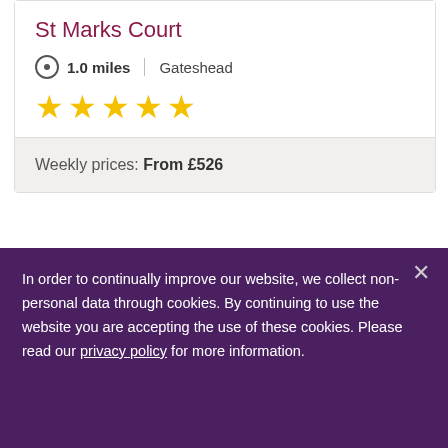St Marks Court
1.0 miles  |  Gateshead
[Figure (other): Five star rating (4.5 stars shown in gold)]
Weekly prices: From £526
In order to continually improve our website, we collect non-personal data through cookies. By continuing to use the website you are accepting the use of these cookies. Please read our privacy policy for more information.